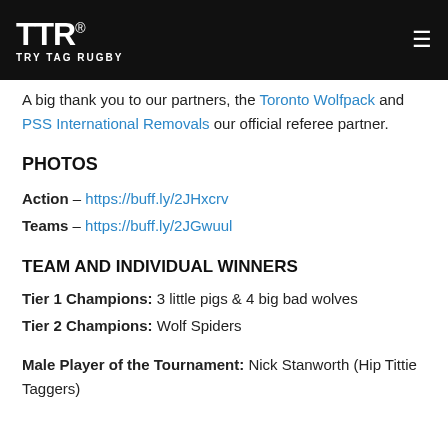TTR TRY TAG RUGBY
A big thank you to our partners, the Toronto Wolfpack and PSS International Removals our official referee partner.
PHOTOS
Action – https://buff.ly/2JHxcrv
Teams – https://buff.ly/2JGwuul
TEAM AND INDIVIDUAL WINNERS
Tier 1 Champions: 3 little pigs & 4 big bad wolves
Tier 2 Champions: Wolf Spiders
Male Player of the Tournament: Nick Stanworth (Hip Tittie Taggers)